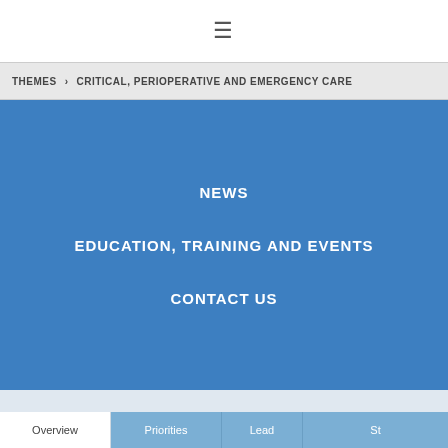≡
THEMES > CRITICAL, PERIOPERATIVE AND EMERGENCY CARE
NEWS
EDUCATION, TRAINING AND EVENTS
CONTACT US
[Figure (photo): Medical professionals in surgical masks and caps performing surgery]
Themes
Critical, Perioperative and Emergency Care
Overview | Priorities | Lead | St